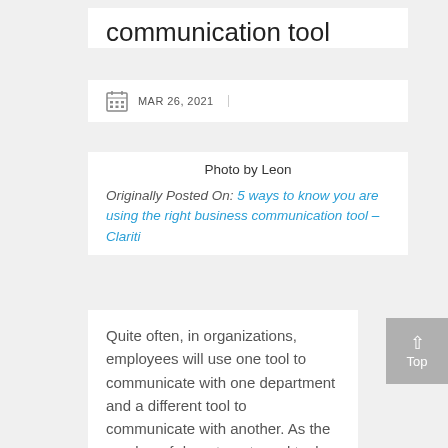communication tool
MAR 26, 2021
Photo by Leon
Originally Posted On: 5 ways to know you are using the right business communication tool – Clariti
Quite often, in organizations, employees will use one tool to communicate with one department and a different tool to communicate with another. As the number of departments and tools increases